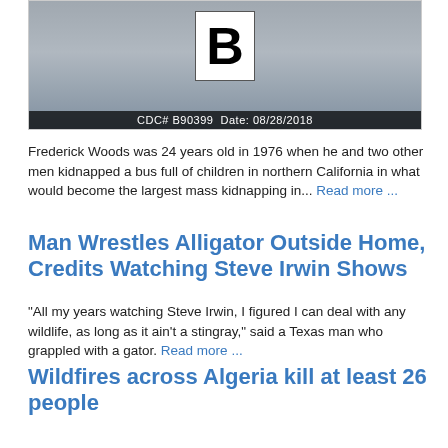[Figure (photo): Mugshot-style photo showing a person holding a placard with letter B, with overlay text: CDC# B90399  Date: 08/28/2018]
Frederick Woods was 24 years old in 1976 when he and two other men kidnapped a bus full of children in northern California in what would become the largest mass kidnapping in... Read more ...
Man Wrestles Alligator Outside Home, Credits Watching Steve Irwin Shows
"All my years watching Steve Irwin, I figured I can deal with any wildlife, as long as it ain't a stingray," said a Texas man who grappled with a gator. Read more ...
Wildfires across Algeria kill at least 26 people
The North African country has repeatedly been accused of failing to invest in much-needed firefighting technology. Read more ...
Ukraine planning nuclear provocation